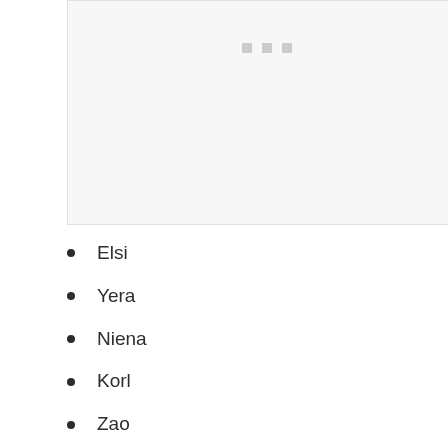[Figure (other): A light gray placeholder box with three small gray square dots near the top center]
Elsi
Yera
Niena
Korl
Zao
Marthe